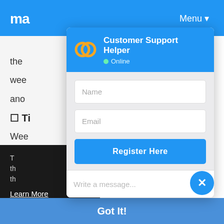[Figure (screenshot): Background website with blue navigation bar partially visible, showing partial logo text 'ma...', 'Menu' dropdown, partial website content lines with text 'the', 'wee', 'ano', and a bold section header 'Ti...', 'Wee', a dark section with text and 'Learn More' link, and a blue 'Got It!' bottom banner.]
[Figure (screenshot): Customer Support Helper chat widget overlay showing: header with two overlapping yellow/orange rings logo icon, title 'Customer Support Helper', green Online status indicator; form body with Name input field, Email input field, 'Register Here' blue button; message input area with 'Write a message...' placeholder and emoji smiley icon; close X button (blue circle) at bottom right.]